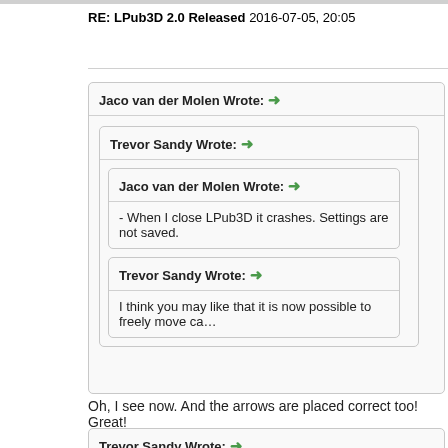RE: LPub3D 2.0 Released
2016-07-05, 20:05
Jaco van der Molen Wrote: →
Trevor Sandy Wrote: →
Jaco van der Molen Wrote: →
- When I close LPub3D it crashes. Settings are not saved.
Trevor Sandy Wrote: →
I think you may like that it is now possible to freely move ca…
Oh, I see now. And the arrows are placed correct too! Great!
Trevor Sandy Wrote: →
Philo also reported the crash on close. This behavior is hard… at all. Can you tell me if the crash is consistent, i.e. crashes…